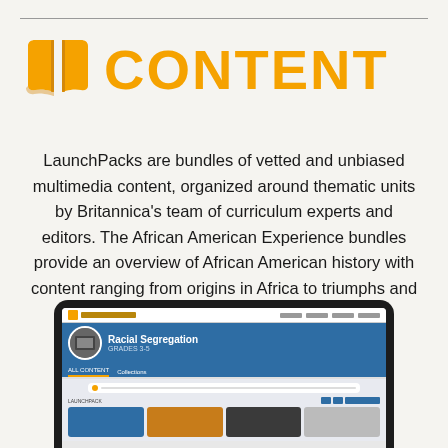CONTENT
LaunchPacks are bundles of vetted and unbiased multimedia content, organized around thematic units by Britannica's team of curriculum experts and editors. The African American Experience bundles provide an overview of African American history with content ranging from origins in Africa to triumphs and continued efforts to gain equality.
[Figure (screenshot): Screenshot of Britannica LaunchPacks website showing a 'Racial Segregation' topic page with blue header, navigation tabs, search bar, and content cards]